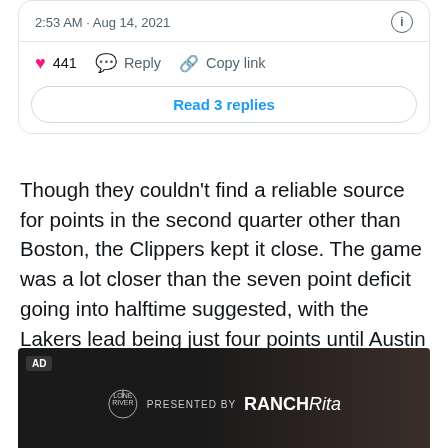2:53 AM · Aug 14, 2021
441   Reply   Copy link
Read 3 replies
Though they couldn't find a reliable source for points in the second quarter other than Boston, the Clippers kept it close. The game was a lot closer than the seven point deficit going into halftime suggested, with the Lakers lead being just four points until Austin Reaves hit a long last second three.
[Figure (screenshot): Advertisement banner with dark background showing 'PRESENTED BY RANCH Rita' logo with a Lone River branding icon]